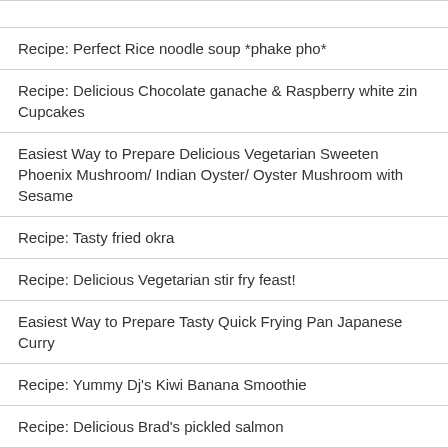Recipe: Perfect Rice noodle soup *phake pho*
Recipe: Delicious Chocolate ganache & Raspberry white zin Cupcakes
Easiest Way to Prepare Delicious Vegetarian Sweeten Phoenix Mushroom/ Indian Oyster/ Oyster Mushroom with Sesame
Recipe: Tasty fried okra
Recipe: Delicious Vegetarian stir fry feast!
Easiest Way to Prepare Tasty Quick Frying Pan Japanese Curry
Recipe: Yummy Dj's Kiwi Banana Smoothie
Recipe: Delicious Brad's pickled salmon
How to Make Perfect Spicy pickled keilbasa and mushrooms
Easiest Way to Make Perfect Beef vegetable soup
Easiest Way to Make Delicious Easy Pesto & Alfredo Delight
Recipe: Appetizing Hand beaten cappuccino coffee
Easiest Way to Make Perfect Homemade chocolate
How to Cook Delicious Fried Bee Hoon